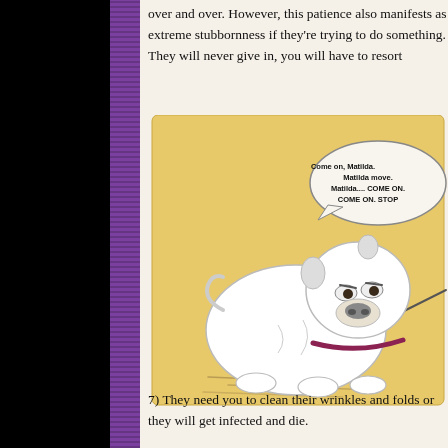over and over. However, this patience also manifests as extreme stubbornness if they're trying to do something. They will never give in, you will have to resort
[Figure (illustration): Cartoon illustration of a stubborn white bulldog being pulled on a leash, digging its paws in and refusing to move. A speech bubble in the top right reads: 'Come on, Matilda. Matilda move. Matilda.... COME ON. STOP'. The background is yellow-ochre.]
7) They need you to clean their wrinkles and folds or they will get infected and die.